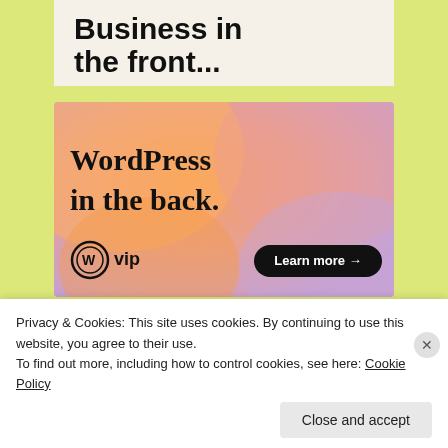Business in the front...
[Figure (illustration): WordPress VIP advertisement banner with colorful blob shapes. Shows 'WordPress in the back.' text with WordPress VIP logo and 'Learn more →' button on gradient orange/pink/purple background.]
February 5th, 1996 I was working nights as a janitor at the local high school. The preachers words burned in my heart and I broke down before God in a classroom and called my dad for advice. I told him my heart and all he said
Privacy & Cookies: This site uses cookies. By continuing to use this website, you agree to their use.
To find out more, including how to control cookies, see here: Cookie Policy
Close and accept